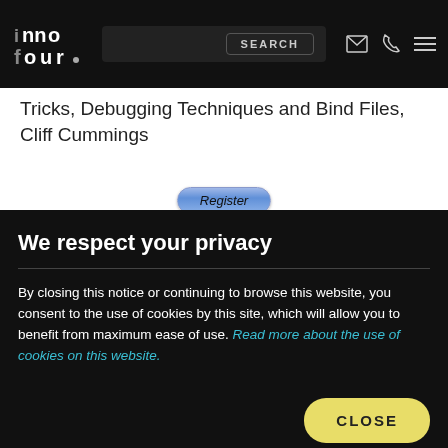INNOFOUR [logo] SEARCH [nav icons]
Tricks, Debugging Techniques and Bind Files, Cliff Cummings
Register
ABOUT THE PRESENTERS
We respect your privacy
By closing this notice or continuing to browse this website, you consent to the use of cookies by this site, which will allow you to benefit from maximum ease of use. Read more about the use of cookies on this website.
CLOSE